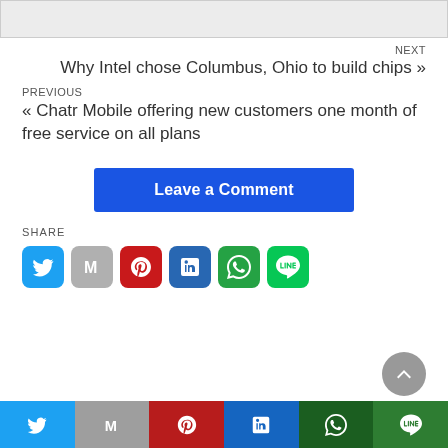[Figure (other): Top image thumbnail (cropped)]
NEXT
Why Intel chose Columbus, Ohio to build chips »
PREVIOUS
« Chatr Mobile offering new customers one month of free service on all plans
Leave a Comment
SHARE
[Figure (infographic): Social share icons: Twitter, Gmail, Pinterest, LinkedIn, WhatsApp, Line]
[Figure (infographic): Bottom share bar with Twitter, Gmail, Pinterest, LinkedIn, WhatsApp, Line icons]